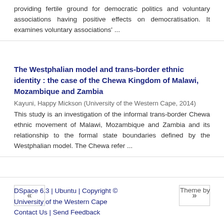providing fertile ground for democratic politics and voluntary associations having positive effects on democratisation. It examines voluntary associations' ...
The Westphalian model and trans-border ethnic identity : the case of the Chewa Kingdom of Malawi, Mozambique and Zambia
Kayuni, Happy Mickson (University of the Western Cape, 2014)
This study is an investigation of the informal trans-border Chewa ethnic movement of Malawi, Mozambique and Zambia and its relationship to the formal state boundaries defined by the Westphalian model. The Chewa refer ...
DSpace 6.3 | Ubuntu | Copyright © University of the Western Cape Contact Us | Send Feedback    Theme by